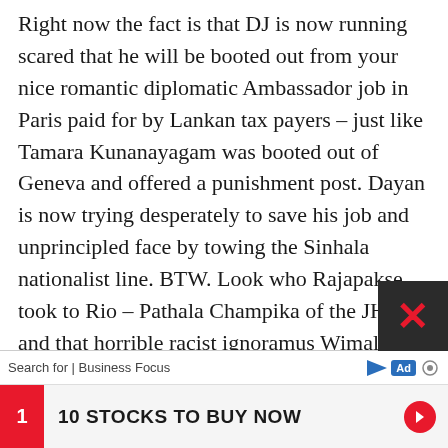Right now the fact is that DJ is now running scared that he will be booted out from your nice romantic diplomatic Ambassador job in Paris paid for by Lankan tax payers – just like Tamara Kunanayagam was booted out of Geneva and offered a punishment post. Dayan is now trying desperately to save his job and unprincipled face by towing the Sinhala nationalist line. BTW. Look who Rajapakse took to Rio – Pathala Champika of the JHU and that horrible racist ignoramus Wimal weerawansa on whom he depends to whip up the nationalist drum to stay in power as the regime crumbles from within and without!
Search for | Business Focus  [Ad]
10 STOCKS TO BUY NOW